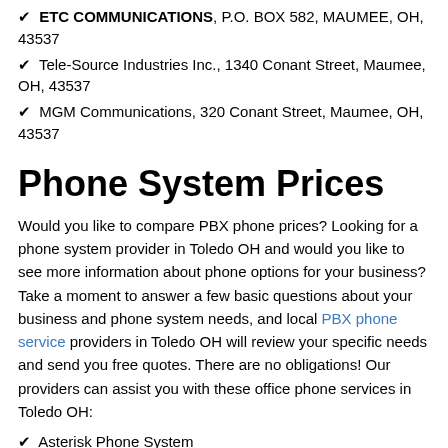✔ ETC COMMUNICATIONS, P.O. BOX 582, MAUMEE, OH, 43537
✔ Tele-Source Industries Inc., 1340 Conant Street, Maumee, OH, 43537
✔ MGM Communications, 320 Conant Street, Maumee, OH, 43537
Phone System Prices
Would you like to compare PBX phone prices? Looking for a phone system provider in Toledo OH and would you like to see more information about phone options for your business? Take a moment to answer a few basic questions about your business and phone system needs, and local PBX phone service providers in Toledo OH will review your specific needs and send you free quotes. There are no obligations! Our providers can assist you with these office phone services in Toledo OH:
✔ Asterisk Phone System